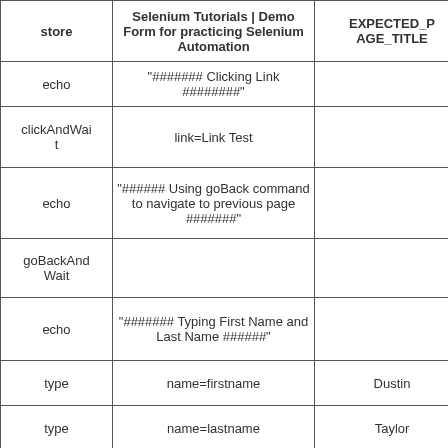| store | Selenium Tutorials | Demo Form for practicing Selenium Automation | EXPECTED_PAGE_TITLE |
| --- | --- | --- |
| echo | "####### Clicking Link ########" |  |
| clickAndWait | link=Link Test |  |
| echo | "###### Using goBack command to navigate to previous page #######" |  |
| goBackAndWait |  |  |
| echo | "####### Typing First Name and Last Name ######" |  |
| type | name=firstname | Dustin |
| type | name=lastname | Taylor |
| echo | ######## Performing Scroll Action ########## |  |